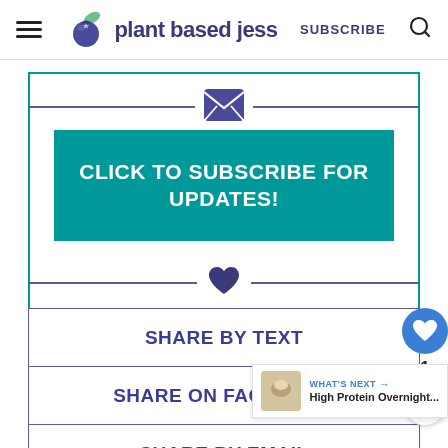plant based jess — SUBSCRIBE
CLICK TO SUBSCRIBE FOR UPDATES!
SHARE BY TEXT
SHARE ON FACEBOOK
SHARE BY EMAIL
WHAT'S NEXT → High Protein Overnight...